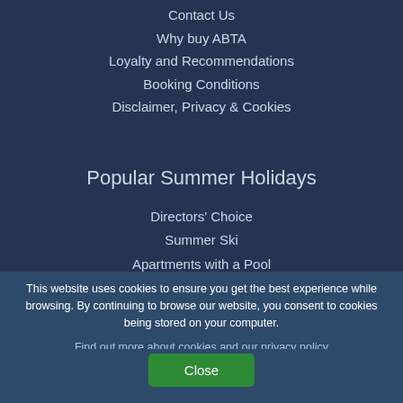Contact Us
Why buy ABTA
Loyalty and Recommendations
Booking Conditions
Disclaimer, Privacy & Cookies
Popular Summer Holidays
Directors' Choice
Summer Ski
Apartments with a Pool
Mountain Biking
This website uses cookies to ensure you get the best experience while browsing. By continuing to browse our website, you consent to cookies being stored on your computer.
Find out more about cookies and our privacy policy
Close